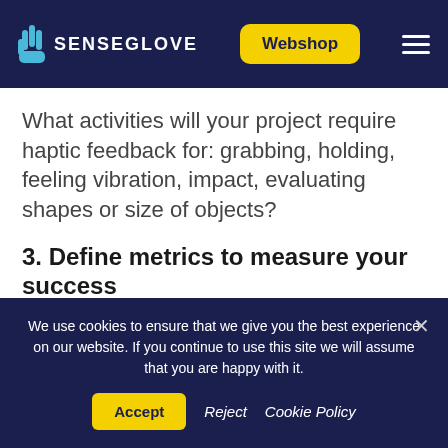SENSEGLOVE — Webshop navigation header
What activities will your project require haptic feedback for: grabbing, holding, feeling vibration, impact, evaluating shapes or size of objects?
3. Define metrics to measure your success
How will you define success: the number of
We use cookies to ensure that we give you the best experience on our website. If you continue to use this site we will assume that you are happy with it. Accept Reject Cookie Policy